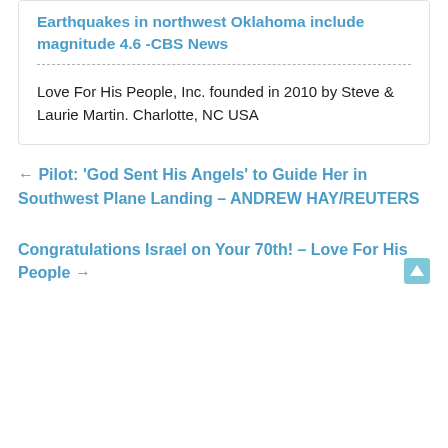Earthquakes in northwest Oklahoma include magnitude 4.6 -CBS News
Love For His People, Inc. founded in 2010 by Steve & Laurie Martin. Charlotte, NC USA
← Pilot: ‘God Sent His Angels’ to Guide Her in Southwest Plane Landing – ANDREW HAY/REUTERS
Congratulations Israel on Your 70th! – Love For His People →